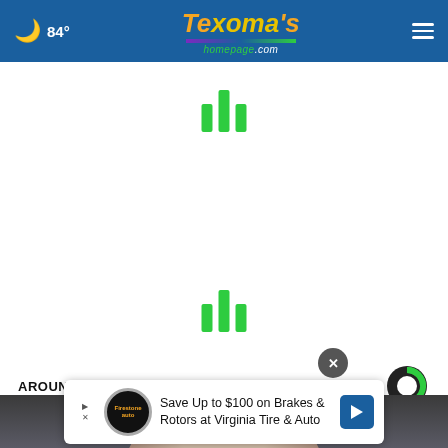84° Texoma's homepage.com
[Figure (other): Loading spinner bars (green vertical bars) in center of white area]
[Figure (other): Second set of loading spinner bars (green vertical bars) in center of white area]
AROUND THE WEB
[Figure (photo): Photo of a person with light/white hair against a blurred background]
[Figure (other): Advertisement banner: Save Up to $100 on Brakes & Rotors at Virginia Tire & Auto, with Firestone auto logo and blue arrow icon]